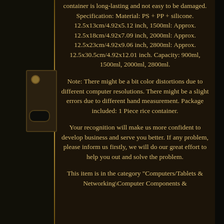container is long-lasting and not easy to be damaged. Specification: Material: PS + PP + silicone. 12.5x13cm/4.92x5.12 inch, 1500ml: Approx. 12.5x18cm/4.92x7.09 inch, 2000ml: Approx. 12.5x23cm/4.92x9.06 inch, 2800ml: Approx. 12.5x30.5cm/4.92x12.01 inch. Capacity: 900ml, 1500ml, 2000ml, 2800ml.
Note: There might be a bit color distortions due to different computer resolutions. There might be a slight errors due to different hand measurement. Package included: 1 Piece rice container.
Your recognition will make us more confident to develop business and serve you better. If any problem, please inform us firstly, we will do our great effort to help you out and solve the problem.
This item is in the category "Computers/Tablets & Networking\Computer Components &